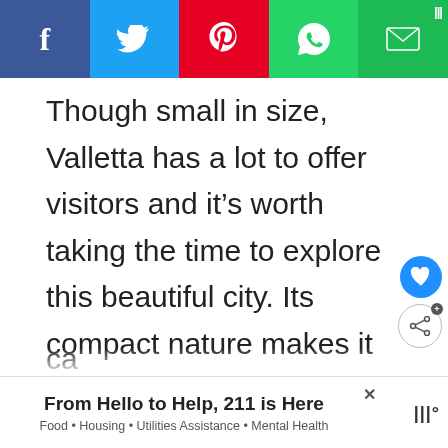[Figure (other): Social media share bar with Facebook, Twitter, Pinterest, WhatsApp, and Email buttons]
Though small in size, Valletta has a lot to offer visitors and it's worth taking the time to explore this beautiful city. Its compact nature makes it ideal for a one-day Valletta itinerary and though there is lots to see, you will also have time to take in the laid-back nature of the Maltese capital and allow yourself to kick back with a gelato or a drink at a wonderful streets...
[Figure (other): Advertisement banner: 'From Hello to Help, 211 is Here' with subtitle 'Food • Housing • Utilities Assistance • Mental Health']